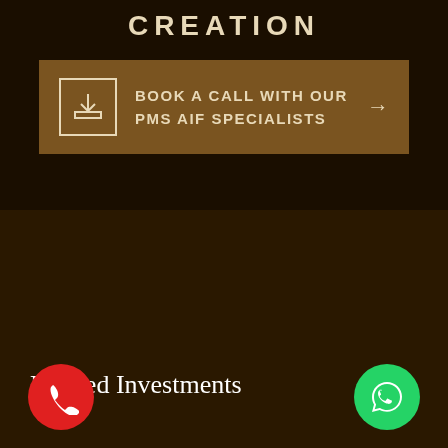CREATION
BOOK A CALL WITH OUR PMS AIF SPECIALISTS
Related Investments
[Figure (other): Red phone call button (circular, red background with white phone icon)]
[Figure (other): WhatsApp button (circular, green background with white WhatsApp logo)]